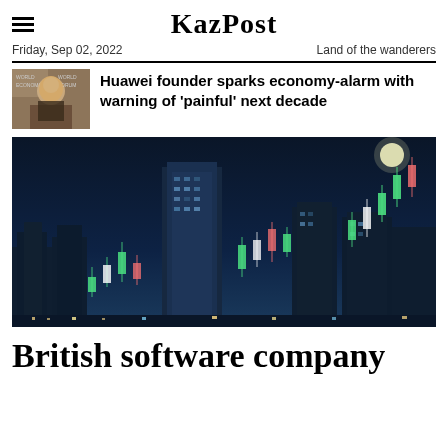KazPost — Friday, Sep 02, 2022 — Land of the wanderers
Huawei founder sparks economy-alarm with warning of 'painful' next decade
[Figure (photo): City skyline at night with glowing stock market candlestick chart overlays superimposed on the buildings]
British software company